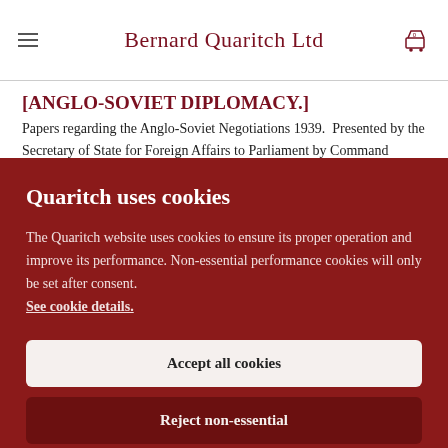Bernard Quaritch Ltd
[ANGLO-SOVIET DIPLOMACY.]
Papers regarding the Anglo-Soviet Negotiations 1939.  Presented by the Secretary of State for Foreign Affairs to Parliament by Command
Quaritch uses cookies
The Quaritch website uses cookies to ensure its proper operation and improve its performance. Non-essential performance cookies will only be set after consent.
See cookie details.
Accept all cookies
Reject non-essential